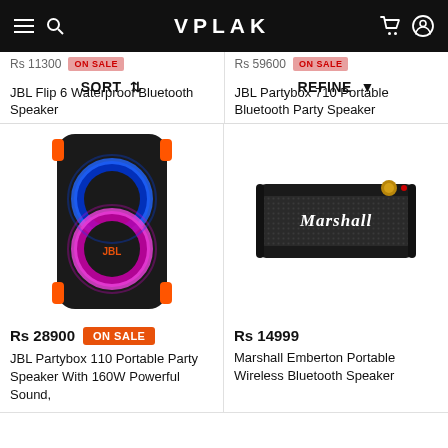VPLAK
SORT   REFINE
Rs 11300  ON SALE
JBL Flip 6 Waterproof Bluetooth Speaker
Rs 59600  ON SALE
JBL Partybox 710 Portable Bluetooth Party Speaker
[Figure (photo): JBL Partybox 110 portable party speaker with glowing multicolor lights (blue and pink/purple) on a black background]
Rs 28900  ON SALE
JBL Partybox 110 Portable Party Speaker With 160W Powerful Sound,
[Figure (photo): Marshall Emberton portable wireless bluetooth speaker in black with gold knob]
Rs 14999
Marshall Emberton Portable Wireless Bluetooth Speaker